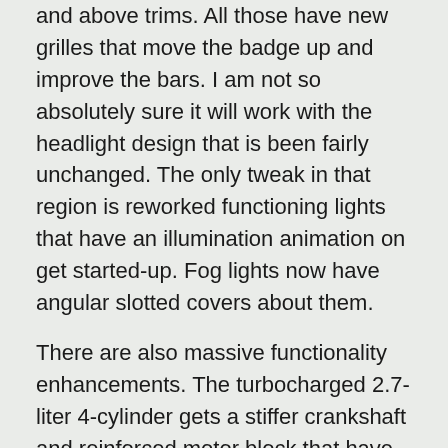and above trims. All those have new grilles that move the badge up and improve the bars. I am not so absolutely sure it will work with the headlight design that is been fairly unchanged. The only tweak in that region is reworked functioning lights that have an illumination animation on get started-up. Fog lights now have angular slotted covers about them.
There are also massive functionality enhancements. The turbocharged 2.7-liter 4-cylinder gets a stiffer crankshaft and reinforced motor block that have enabled Chevy to get more torque out of it. It now can make 420 pound-ft, which indicates it tends to make even a lot more torque than the 5.3-liter V8. It truly is in fact only 40 pound-ft absent from the 3.-liter diesel and the 6.2-liter V8. The 8-velocity automated it's originated to be a lot more tuned for a ride.